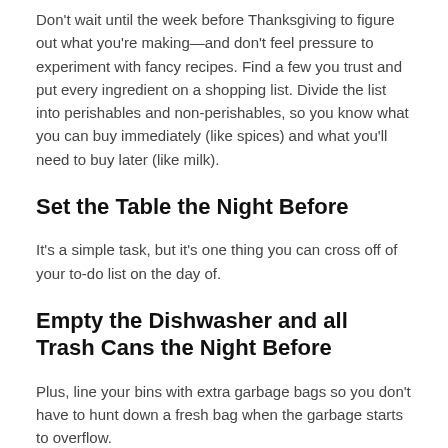Don't wait until the week before Thanksgiving to figure out what you're making—and don't feel pressure to experiment with fancy recipes. Find a few you trust and put every ingredient on a shopping list. Divide the list into perishables and non-perishables, so you know what you can buy immediately (like spices) and what you'll need to buy later (like milk).
Set the Table the Night Before
It's a simple task, but it's one thing you can cross off of your to-do list on the day of.
Empty the Dishwasher and all Trash Cans the Night Before
Plus, line your bins with extra garbage bags so you don't have to hunt down a fresh bag when the garbage starts to overflow.
Prepare as Much as You Can in Advance